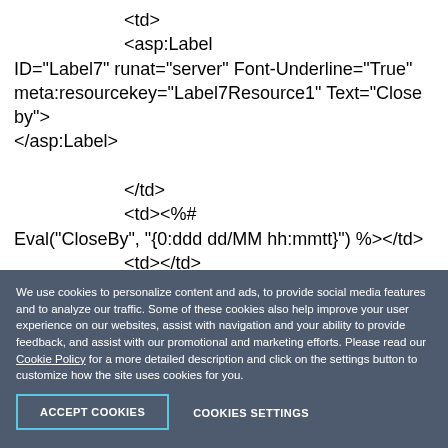<td>
                    <asp:Label ID="Label7" runat="server" Font-Underline="True" meta:resourcekey="Label7Resource1" Text="Close by">
                    </asp:Label>
                    </td>
                    <td><%# Eval("CloseBy", "{0:ddd dd/MM hh:mmtt}") %></td>
                    <td></td>
                    <td>
We use cookies to personalize content and ads, to provide social media features and to analyze our traffic. Some of these cookies also help improve your user experience on our websites, assist with navigation and your ability to provide feedback, and assist with our promotional and marketing efforts. Please read our Cookie Policy for a more detailed description and click on the settings button to customize how the site uses cookies for you.
ACCEPT COOKIES | COOKIES SETTINGS